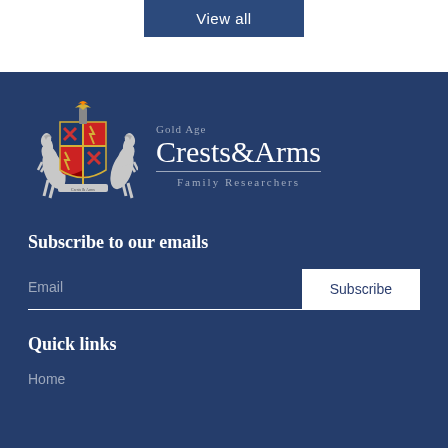[Figure (other): View all button — dark blue rectangular button with white text]
[Figure (logo): Gold Age Crests & Arms Family Researchers logo with coat of arms heraldic shield featuring two white horses, red and blue quartered shield, and gold torch on top]
Subscribe to our emails
Email
Subscribe
Quick links
Home